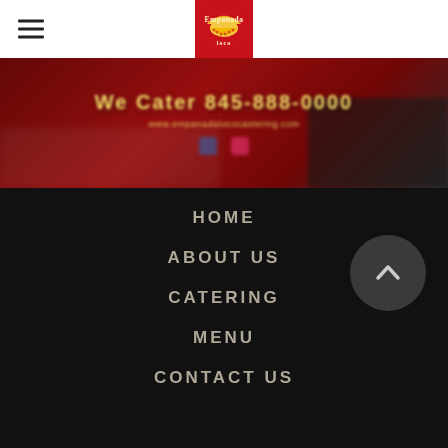[Figure (logo): Empanada Loco restaurant logo — circular red badge with empanada illustration and yellow text]
[Figure (photo): Blurred photo of a red food truck or vehicle with phone number text visible in gold: 'We Cater 845-888-0000' and website URL below]
HOME
ABOUT US
CATERING
MENU
CONTACT US